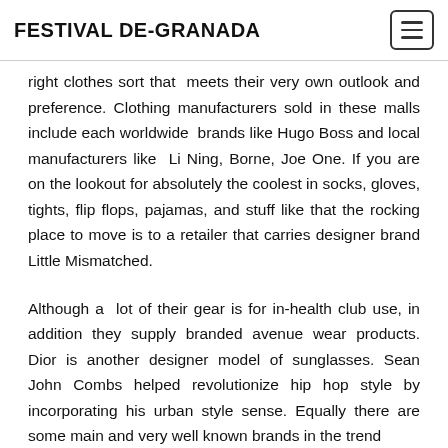FESTIVAL DE-GRANADA
right clothes sort that meets their very own outlook and preference. Clothing manufacturers sold in these malls include each worldwide brands like Hugo Boss and local manufacturers like Li Ning, Borne, Joe One. If you are on the lookout for absolutely the coolest in socks, gloves, tights, flip flops, pajamas, and stuff like that the rocking place to move is to a retailer that carries designer brand Little Mismatched.
Although a lot of their gear is for in-health club use, in addition they supply branded avenue wear products. Dior is another designer model of sunglasses. Sean John Combs helped revolutionize hip hop style by incorporating his urban style sense. Equally there are some main and very well known brands in the trend